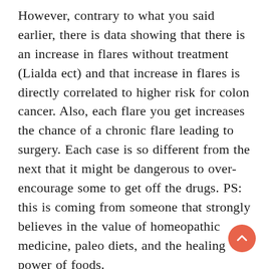However, contrary to what you said earlier, there is data showing that there is an increase in flares without treatment (Lialda ect) and that increase in flares is directly correlated to higher risk for colon cancer. Also, each flare you get increases the chance of a chronic flare leading to surgery. Each case is so different from the next that it might be dangerous to over-encourage some to get off the drugs. PS: this is coming from someone that strongly believes in the value of homeopathic medicine, paleo diets, and the healing power of foods.
[Figure (other): Circular scroll-to-top button with upward chevron arrow, coral/orange-red color]